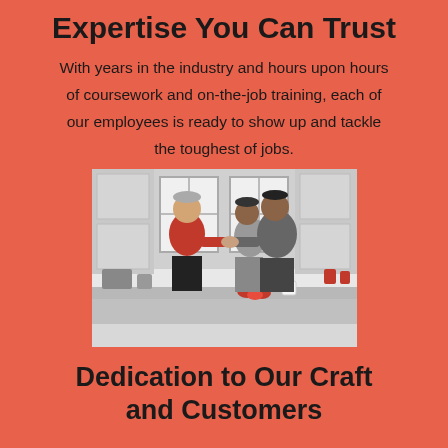Expertise You Can Trust
With years in the industry and hours upon hours of coursework and on-the-job training, each of our employees is ready to show up and tackle the toughest of jobs.
[Figure (photo): A person in a red shirt shaking hands with two people in a kitchen setting]
Dedication to Our Craft and Customers